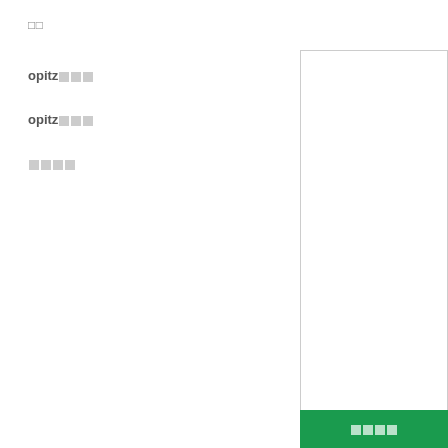□□
opitz□□□
opitz□□□
□□□□
[Figure (other): White rectangular panel on the right side of the page with a border]
□□□□